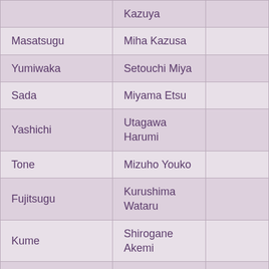|  | Kazuya |  |
| Masatsugu | Miha Kazusa |  |
| Yumiwaka | Setouchi Miya |  |
| Sada | Miyama Etsu |  |
| Yashichi | Utagawa Harumi |  |
| Tone | Mizuho Youko |  |
| Fujitsugu | Kurushima Wataru |  |
| Kume | Shirogane Akemi |  |
|  |  |  |